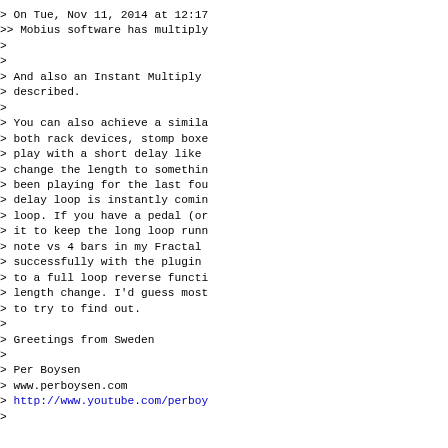> On Tue, Nov 11, 2014 at 12:17
>> Mobius software has multiply
>
>
> And also an Instant Multiply
> described.
>
> You can also achieve a simila
> both rack devices, stomp boxe
> play with a short delay like
> change the length to somethin
> been playing for the last fou
> delay loop is instantly comin
> loop. If you have a pedal (or
> it to keep the long loop runn
> note vs 4 bars in my Fractal
> successfully with the plugin
> to a full loop reverse functi
> length change. I'd guess most
> to try to find out.
>
> Greetings from Sweden
>
> Per Boysen
> www.perboysen.com
> http://www.youtube.com/perboy
>